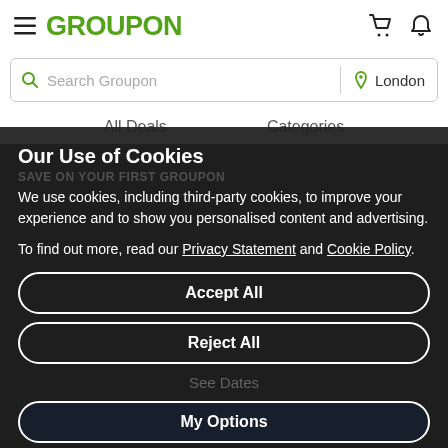GROUPON
Search Groupon | London
All Deals    Categories
Our Use of Cookies
SAVE ON YOUR FIRST GROUPON
We use cookies, including third-party cookies, to improve your experience and to show you personalised content and advertising.
To find out more, read our Privacy Statement and Cookie Policy.
Accept All
Reject All
See Dates
My Options